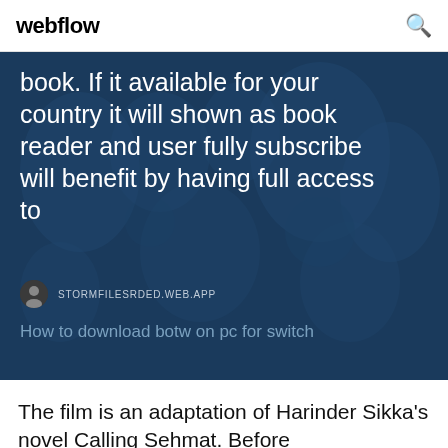webflow
[Figure (screenshot): Blue section with world map background showing partial text about book availability and subscription, with source URL STORMFILESRDED.WEB.APP and link 'How to download botw on pc for switch']
The film is an adaptation of Harinder Sikka's novel Calling Sehmat. Before